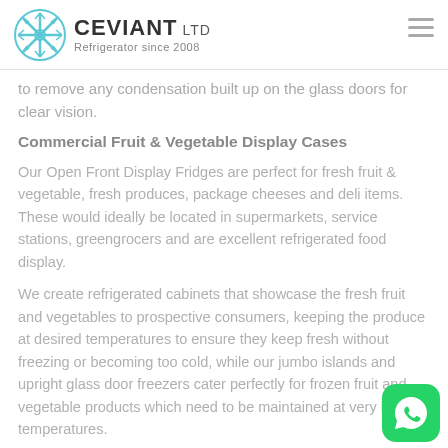CEVIANT LTD — Refrigerator since 2008
to remove any condensation built up on the glass doors for clear vision.
Commercial Fruit & Vegetable Display Cases
Our Open Front Display Fridges are perfect for fresh fruit & vegetable, fresh produces, package cheeses and deli items. These would ideally be located in supermarkets, service stations, greengrocers and are excellent refrigerated food display.
We create refrigerated cabinets that showcase the fresh fruit and vegetables to prospective consumers, keeping the produce at desired temperatures to ensure they keep fresh without freezing or becoming too cold, while our jumbo islands and upright glass door freezers cater perfectly for frozen fruit and vegetable products which need to be maintained at very low temperatures.
Our cabinets boast the largest volumetric display area and a p... coil to prevent icing. At Omega we provide a wide selection o... commercial refrigeration cabinets for fruit and vegetable...